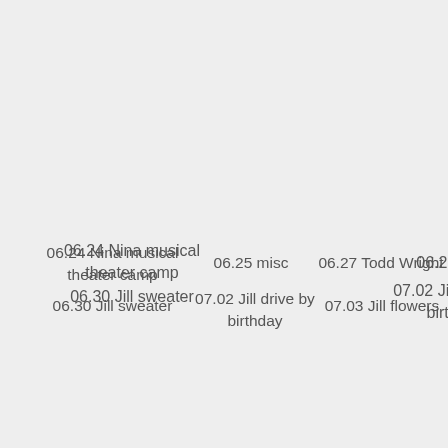06.24 Nina musical theater camp
06.25 misc
06.27 Todd Wright
06.30 Jill sweater
07.02 Jill drive by birthday
07.03 Jill flowers